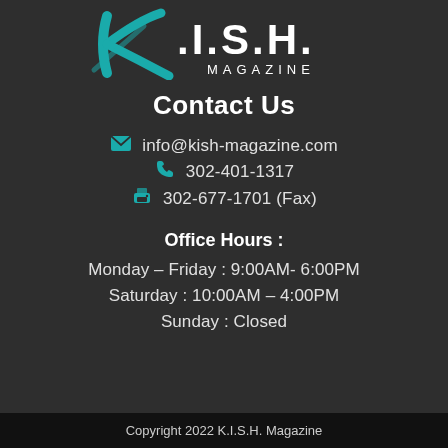[Figure (logo): K.I.S.H. Magazine logo with teal stylized K and dotted letters I, S, H in white, word MAGAZINE below in white]
Contact Us
info@kish-magazine.com
302-401-1317
302-677-1701 (Fax)
Office Hours :
Monday – Friday : 9:00AM- 6:00PM
Saturday : 10:00AM – 4:00PM
Sunday : Closed
Copyright 2022 K.I.S.H. Magazine